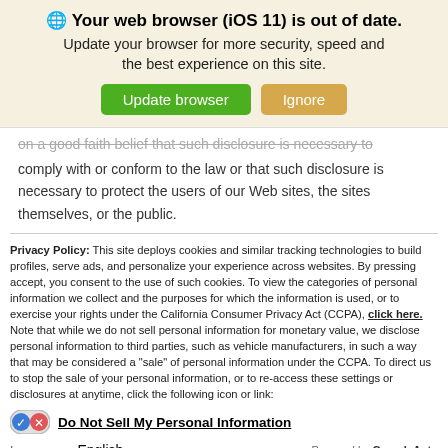🌐 Your web browser (iOS 11) is out of date. Update your browser for more security, speed and the best experience on this site.
Update browser | Ignore
on a good faith belief that such disclosure is necessary to comply with or conform to the law or that such disclosure is necessary to protect the users of our Web sites, the sites themselves, or the public.
Privacy Policy: This site deploys cookies and similar tracking technologies to build profiles, serve ads, and personalize your experience across websites. By pressing accept, you consent to the use of such cookies. To view the categories of personal information we collect and the purposes for which the information is used, or to exercise your rights under the California Consumer Privacy Act (CCPA), click here. Note that while we do not sell personal information for monetary value, we disclose personal information to third parties, such as vehicle manufacturers, in such a way that may be considered a "sale" of personal information under the CCPA. To direct us to stop the sale of your personal information, or to re-access these settings or disclosures at anytime, click the following icon or link:
Do Not Sell My Personal Information
Language: English
Powered by ComplyAuto
Accept and Continue → | California Privacy Disclosures